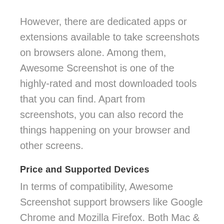However, there are dedicated apps or extensions available to take screenshots on browsers alone. Among them, Awesome Screenshot is one of the highly-rated and most downloaded tools that you can find. Apart from screenshots, you can also record the things happening on your browser and other screens.
Price and Supported Devices
In terms of compatibility, Awesome Screenshot support browsers like Google Chrome and Mozilla Firefox. Both Mac &